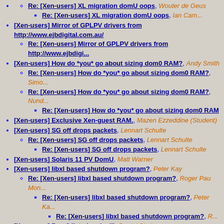Re: [Xen-users] XL migration domU oops, Wouter de Geus
Re: [Xen-users] XL migration domU oops, Ian Campbell
[Xen-users] Mirror of GPLPV drivers from http://www.ejbdigital.com.au/
Re: [Xen-users] Mirror of GPLPV drivers from http://www.ejbdigital.com.au/
[Xen-users] How do *you* go about sizing dom0 RAM?, Andy Smith
Re: [Xen-users] How do *you* go about sizing dom0 RAM?, Simon
Re: [Xen-users] How do *you* go about sizing dom0 RAM?, Nuno
Re: [Xen-users] How do *you* go about sizing dom0 RAM
[Xen-users] Exclusive Xen-guest RAM., Mazen Ezzeddine (Student)
[Xen-users] SG off drops packets, Lennart Schulte
Re: [Xen-users] SG off drops packets, Lennart Schulte
Re: [Xen-users] SG off drops packets, Lennart Schulte
[Xen-users] Solaris 11 PV DomU, Matt Warner
[Xen-users] libxl based shutdown program?, Peter Kay
Re: [Xen-users] libxl based shutdown program?, Roger Pau Monnerat
Re: [Xen-users] libxl based shutdown program?, Peter Kay
Re: [Xen-users] libxl based shutdown program?, R
[Xen-users] Dom0 listed as (null), Daniel Shub
Re: [Xen-users] Dom0 listed as (null), Olaf Hering
Re: [Xen-users] Dom0 listed as (null), Ian Campbell
[Xen-users] Disable emulated hard disks, Petr Gregor
Re: [Xen-users] Disable emulated hard disks, Ian Campbell
Re: [Xen-users] Disable emulated hard disks, Petr Gregor
[Xen-users] Maximun number of NICs in PV?, Pablo E. Bullian
Re: [Xen-users] Maximun number of NICs in PV?, Pablo E. Bullian